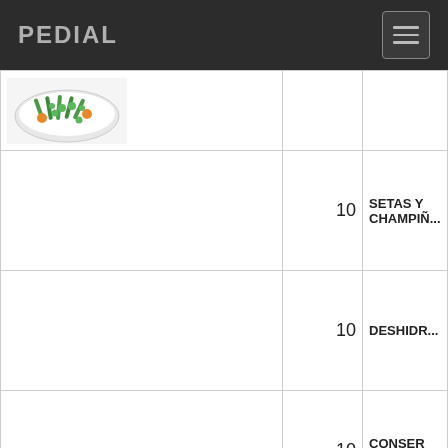PEDIAL
| Image | Qty | Product |
| --- | --- | --- |
| [mixed vegetables image] | 10 | SETAS Y CHAMPIÑ... |
|  | 10 | DESHIDR... |
|  | 10 | CONSER VERDUR... |
| [Celorrio can image] | 10 | CONSER VERDUR... |